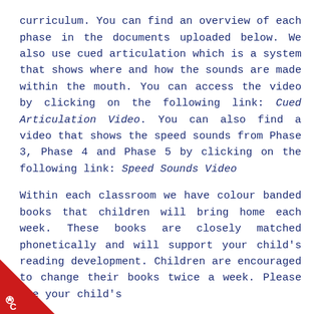curriculum. You can find an overview of each phase in the documents uploaded below. We also use cued articulation which is a system that shows where and how the sounds are made within the mouth. You can access the video by clicking on the following link: Cued Articulation Video. You can also find a video that shows the speed sounds from Phase 3, Phase 4 and Phase 5 by clicking on the following link: Speed Sounds Video
Within each classroom we have colour banded books that children will bring home each week. These books are closely matched phonetically and will support your child's reading development. Children are encouraged to change their books twice a week. Please use your child's
[Figure (illustration): Red triangle corner decoration in bottom-left with white star/cog icon and letter C]